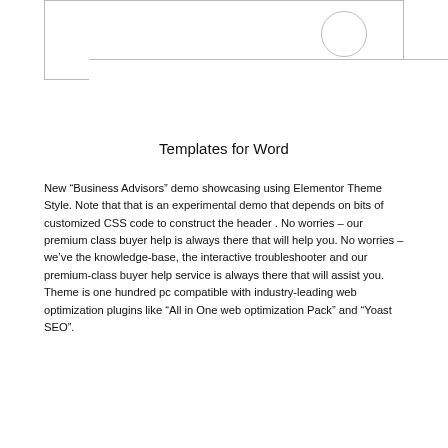[Figure (other): A rectangular box with a circle in the upper right area, representing a template placeholder or image frame with a circular element.]
Templates for Word
New “Business Advisors” demo showcasing using Elementor Theme Style. Note that that is an experimental demo that depends on bits of customized CSS code to construct the header . No worries – our premium class buyer help is always there that will help you. No worries – we’ve the knowledge-base, the interactive troubleshooter and our premium-class buyer help service is always there that will assist you. Theme is one hundred pc compatible with industry-leading web optimization plugins like “All in One web optimization Pack” and “Yoast SEO”.